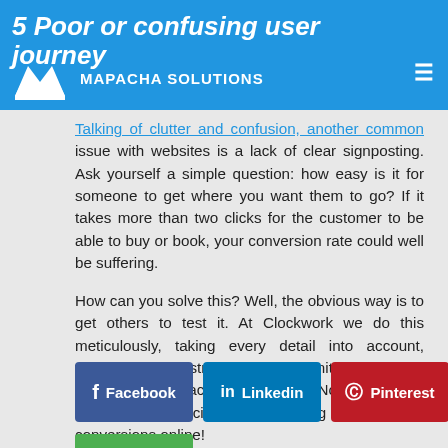5 Poor or confusing user journey — Mapacha Solutions
Talking of clutter and confusion, another common issue with websites is a lack of clear signposting. Ask yourself a simple question: how easy is it for someone to get where you want them to go? If it takes more than two clicks for the customer to be able to buy or book, your conversion rate could well be suffering.
How can you solve this? Well, the obvious way is to get others to test it. At Clockwork we do this meticulously, taking every detail into account, testing different strategies and monitoring bounce rates and other factors. A bit OTT? Not at all- there is a definite science to making more sales conversions online!